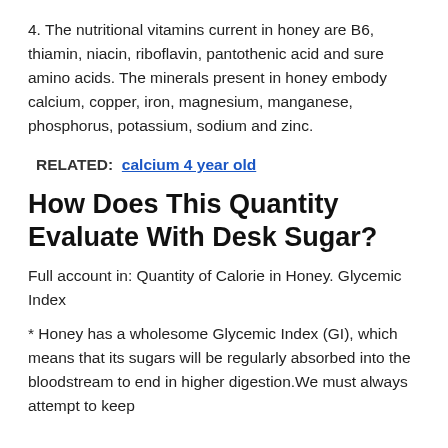4. The nutritional vitamins current in honey are B6, thiamin, niacin, riboflavin, pantothenic acid and sure amino acids. The minerals present in honey embody calcium, copper, iron, magnesium, manganese, phosphorus, potassium, sodium and zinc.
RELATED:  calcium 4 year old
How Does This Quantity Evaluate With Desk Sugar?
Full account in: Quantity of Calorie in Honey. Glycemic Index
* Honey has a wholesome Glycemic Index (GI), which means that its sugars will be regularly absorbed into the bloodstream to end in higher digestion.We must always attempt to keep